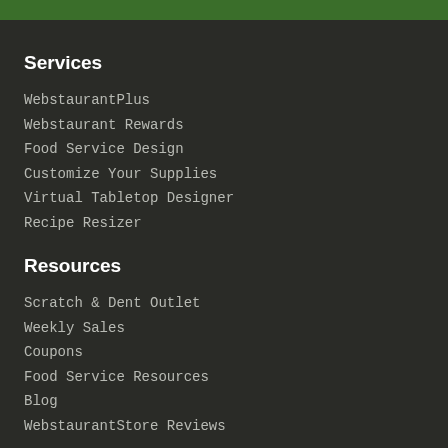Services
WebstaurantPlus
Webstaurant Rewards
Food Service Design
Customize Your Supplies
Virtual Tabletop Designer
Recipe Resizer
Resources
Scratch & Dent Outlet
Weekly Sales
Coupons
Food Service Resources
Blog
WebstaurantStore Reviews
About
About Us